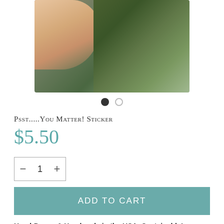[Figure (photo): A hand holding something small against a background of green foliage and pine branches, partially cropped at top]
Psst.....You Matter! Sticker
$5.50
− 1 +
ADD TO CART
Hand-Drawn & Handmade in the USA- Sustainably!
For anyone needing the reminder that their life matters and to help spread the message of suicide prevention.